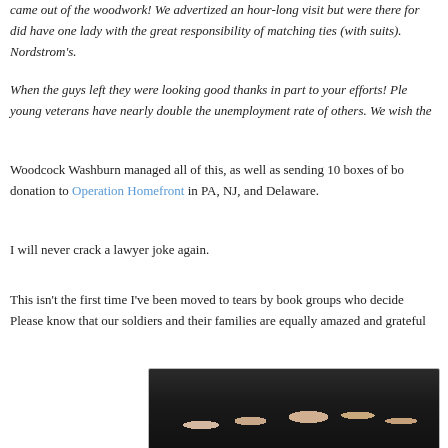came out of the woodwork! We advertized an hour-long visit but were there for did have one lady with the great responsibility of matching ties (with suits). Nordstrom's.
When the guys left they were looking good thanks in part to your efforts! Ple young veterans have nearly double the unemployment rate of others. We wish the
Woodcock Washburn managed all of this, as well as sending 10 boxes of bo donation to Operation Homefront in PA, NJ, and Delaware.
I will never crack a lawyer joke again.
This isn't the first time I've been moved to tears by book groups who decide Please know that our soldiers and their families are equally amazed and grateful
[Figure (photo): Group photo of five women sitting together indoors, appearing to be at a book group meeting.]